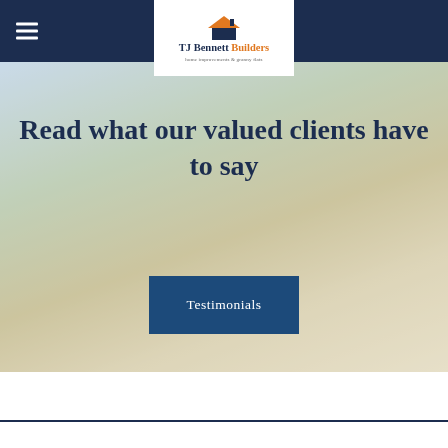TJ Bennett Builders – home improvements & granny flats
[Figure (photo): Hero image showing a child lying on a carpet reading/writing, with adults in background. Overlaid with bold navy text and a blue Testimonials button.]
Read what our valued clients have to say
Testimonials